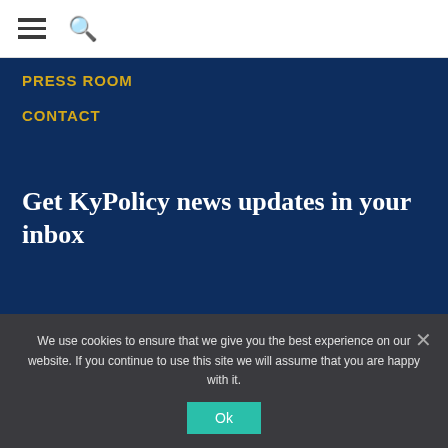≡ 🔍
PRESS ROOM
CONTACT
Get KyPolicy news updates in your inbox
SIGN UP
We use cookies to ensure that we give you the best experience on our website. If you continue to use this site we will assume that you are happy with it.
Ok